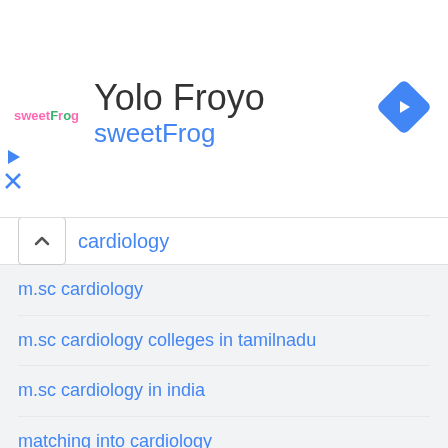[Figure (screenshot): SweetFrog advertisement banner with logo, title 'Yolo Froyo', subtitle 'sweetFrog', navigation arrow icon, and ad control buttons]
cardiology
m.sc cardiology
m.sc cardiology colleges in tamilnadu
m.sc cardiology in india
matching into cardiology
mid cardiology
mis-c cardiology
moonlighting during cardiology fellowship
n e cardiology
p cart cardiology
p waves cardiology
pa-c cardiology